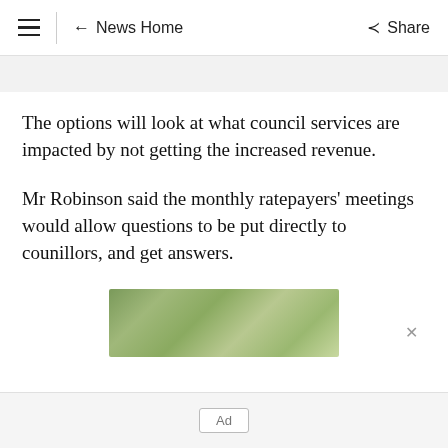≡ | ← News Home    Share
The options will look at what council services are impacted by not getting the increased revenue.
Mr Robinson said the monthly ratepayers' meetings would allow questions to be put directly to counillors, and get answers.
[Figure (photo): Partially visible green foliage photo used as advertisement image]
Ad